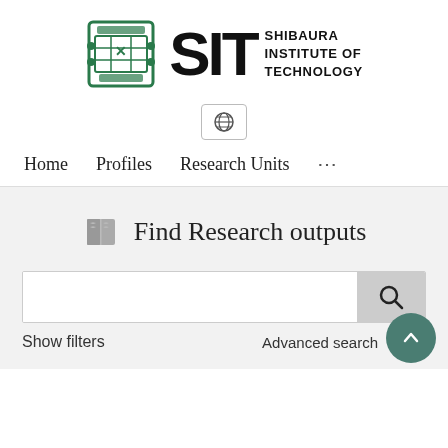[Figure (logo): Shibaura Institute of Technology (SIT) logo with green emblem on the left, large bold 'SIT' text in the center, and 'SHIBAURA INSTITUTE OF TECHNOLOGY' text on the right]
[Figure (other): Globe/language selector icon button with border]
Home   Profiles   Research Units   ...
Find Research outputs
[Figure (screenshot): Search bar with search button and magnifying glass icon]
Show filters
Advanced search